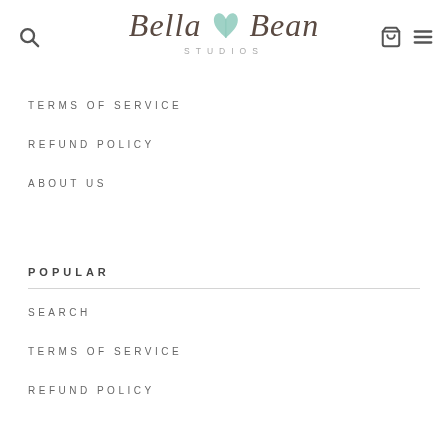Bella Bean STUDIOS — navigation header with search, cart, and menu icons
TERMS OF SERVICE
REFUND POLICY
ABOUT US
POPULAR
SEARCH
TERMS OF SERVICE
REFUND POLICY